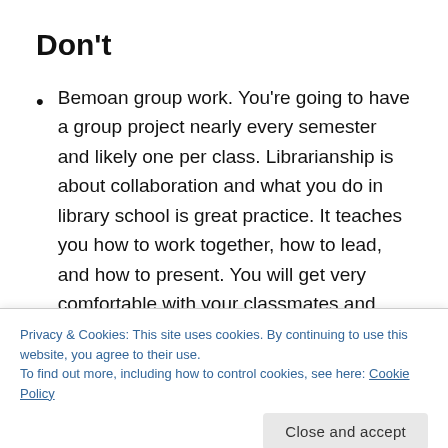Don't
Bemoan group work. You're going to have a group project nearly every semester and likely one per class. Librarianship is about collaboration and what you do in library school is great practice. It teaches you how to work together, how to lead, and how to present. You will get very comfortable with your classmates and they are the easiest audience you will every present in front of. Cherish this
Privacy & Cookies: This site uses cookies. By continuing to use this website, you agree to their use.
To find out more, including how to control cookies, see here: Cookie Policy
Forget your friends and how to have fun, but "I